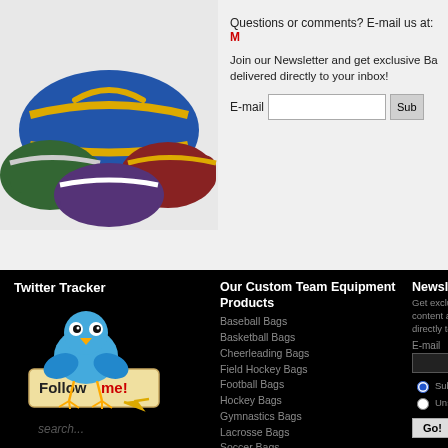[Figure (photo): Sports bags stacked together — colorful duffel/equipment bags]
Questions or comments? E-mail us at: M...
Join our Newsletter and get exclusive Ba... delivered directly to your inbox!
E-mail [input field] Sub...
Twitter Tracker
[Figure (illustration): Twitter bird mascot holding a 'Follow me!' sign]
Our Custom Team Equipment Products
Baseball Bags
Basketball Bags
Cheerleading Bags
Field Hockey Bags
Football Bags
Hockey Bags
Gymnastics Bags
Lacrosse Bags
Soccer Bags
Swimming Bags
Newslett...
Get exclu... content an... directly to...
E-mail
Subscribe / Unsubscribe
Go!
search...